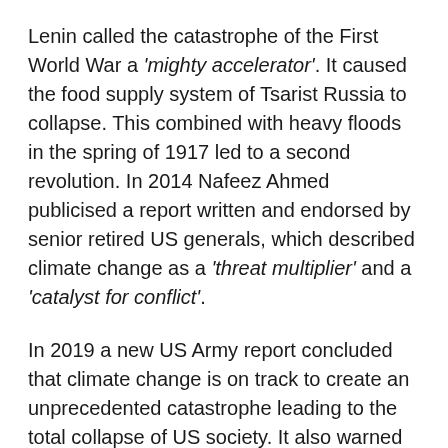Lenin called the catastrophe of the First World War a 'mighty accelerator'. It caused the food supply system of Tsarist Russia to collapse. This combined with heavy floods in the spring of 1917 led to a second revolution. In 2014 Nafeez Ahmed publicised a report written and endorsed by senior retired US generals, which described climate change as a 'threat multiplier' and a 'catalyst for conflict'.
In 2019 a new US Army report concluded that climate change is on track to create an unprecedented catastrophe leading to the total collapse of US society. It also warned of future foreign interventions in Syria-style conflicts triggered by climate change impacts. For example, 40% of US army operating costs are spent on water, and, in a climate-changed future with even less